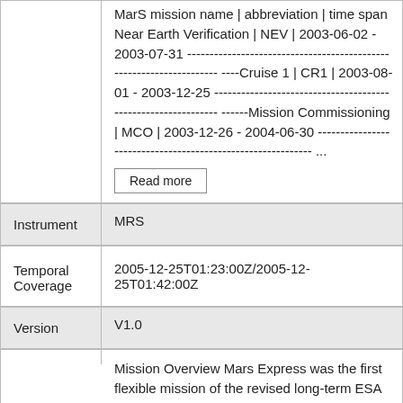|  |  |
| --- | --- |
|  | MarS mission name | abbreviation | time span Near Earth Verification | NEV | 2003-06-02 - 2003-07-31 ------------------------------------------------------------ ----Cruise 1 | CR1 | 2003-08-01 - 2003-12-25 ---- ------------------------------------------------- Mission Commissioning | MCO | 2003-12-26 - 2004-06-30 ------------------------------------------------------------ ... [Read more] |
| Instrument | MRS |
| Temporal Coverage | 2005-12-25T01:23:00Z/2005-12-25T01:42:00Z |
| Version | V1.0 |
|  | Mission Overview Mars Express was the first flexible mission of the revised long-term ESA Science Programme Horizons 2000 and was launched to the planet Mars from Baikonur (Kazakhstan) on June 2nd 2003. A Soyuz-Fregat launcher injected the Mars Express total mass of about 1200 kg into Mars transfer orbit. Details |